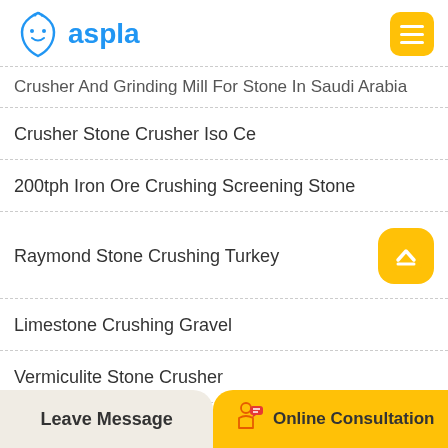[Figure (logo): Aspla logo with blue shield icon and blue text 'aspla']
Crusher And Grinding Mill For Stone In Saudi Arabia
Crusher Stone Crusher Iso Ce
200tph Iron Ore Crushing Screening Stone
Raymond Stone Crushing Turkey
Limestone Crushing Gravel
Vermiculite Stone Crusher
Feldspar Grinding Crushing Stones
Leave Message   Online Consultation